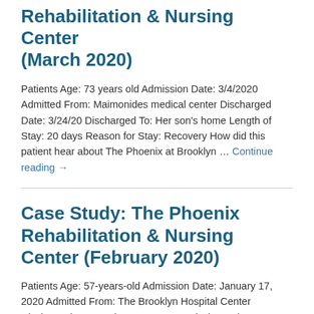Rehabilitation & Nursing Center (March 2020)
Patients Age: 73 years old Admission Date: 3/4/2020 Admitted From: Maimonides medical center Discharged Date: 3/24/20 Discharged To: Her son's home Length of Stay: 20 days Reason for Stay: Recovery How did this patient hear about The Phoenix at Brooklyn … Continue reading →
Case Study: The Phoenix Rehabilitation & Nursing Center (February 2020)
Patients Age: 57-years-old Admission Date: January 17, 2020 Admitted From: The Brooklyn Hospital Center Discharged Date: February 20, 2020 Discharged To: Home Length of Stay: 34 days Reason for Stay: Short term rehabilitation due to injuries sustained in a motor …